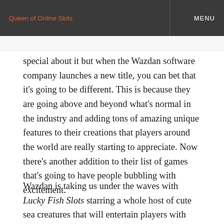Queen of Online Slots   MENU
special about it but when the Wazdan software company launches a new title, you can bet that it's going to be different. This is because they are going above and beyond what's normal in the industry and adding tons of amazing unique features to their creations that players around the world are really starting to appreciate. Now there's another addition to their list of games that's going to have people bubbling with excitement.
Wazdan is taking us under the waves with Lucky Fish Slots starring a whole host of cute sea creatures that will entertain players with their vibrant colors and